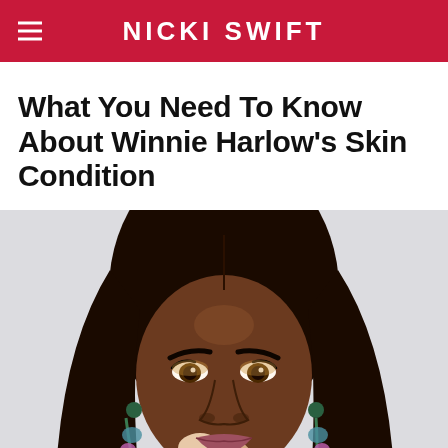NICKI SWIFT
What You Need To Know About Winnie Harlow's Skin Condition
[Figure (photo): Close-up portrait of Winnie Harlow, a model with vitiligo, wearing colorful jeweled drop earrings, with long straight dark hair, against a light background.]